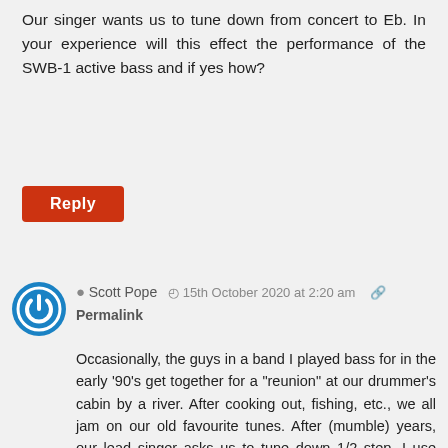Our singer wants us to tune down from concert to Eb. In your experience will this effect the performance of the SWB-1 active bass and if yes how?
Reply
Scott Pope   15th October 2020 at 2:20 am   Permalink
Occasionally, the guys in a band I played bass for in the early ‘90’s get together for a “reunion” at our drummer’s cabin by a river. After cooking out, fishing, etc., we all jam on our old favourite tunes. After (mumble) years, our lead singer asks us to tune down 1/2 step. I use GHS Balanced Pure Nickel strings to tune my short scale bass down to Eb-Ab-Db-Gb because the pure nickel wrap has just a little more mass for the same diameters, therefore a little more